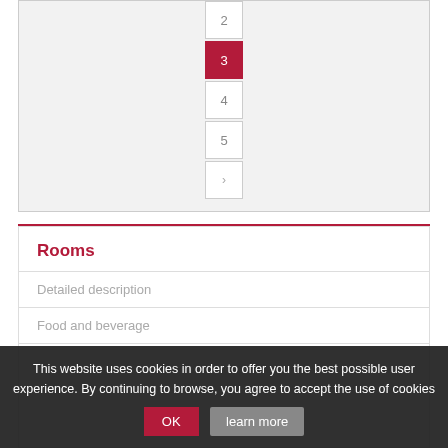[Figure (other): Pagination widget showing page numbers 2, 3 (active/selected, highlighted in dark red), 4, 5, and a next arrow button, arranged vertically in a light gray box.]
Rooms
Detailed description
Food and beverage
This website uses cookies in order to offer you the best possible user experience. By continuing to browse, you agree to accept the use of cookies  OK  learn more